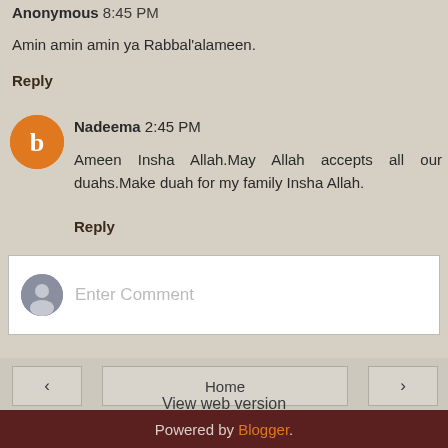Anonymous 8:45 PM
Amin amin amin ya Rabbal'alameen.
Reply
Nadeema 2:45 PM
Ameen Insha Allah.May Allah accepts all our duahs.Make duah for my family Insha Allah.
Reply
Enter Comment
Home
View web version
Powered by Blogger.